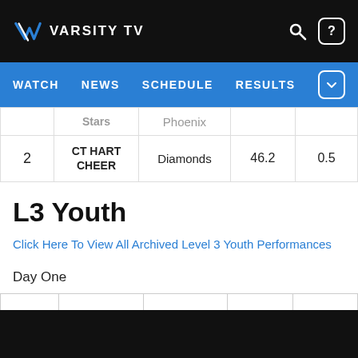VARSITY TV
WATCH  NEWS  SCHEDULE  RESULTS
|  | Stars | Phoenix |  |  |
| --- | --- | --- | --- | --- |
| 2 | CT HART CHEER | Diamonds | 46.2 | 0.5 |
L3 Youth
Click Here To View All Archived Level 3 Youth Performances
Day One